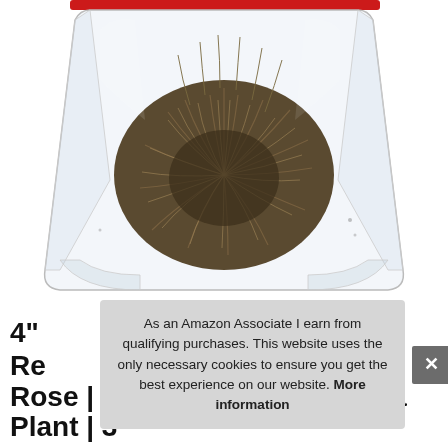[Figure (photo): A clear plastic zip-lock bag with a red closure at the top, containing a dried plant ball (Rose of Jericho / Doradilla resurrection plant) with brown, curled, fern-like fronds, on a white background.]
As an Amazon Associate I earn from qualifying purchases. This website uses the only necessary cookies to ensure you get the best experience on our website. More information
4" Re Rose | Sacred Rose, Doradilla Plant | 3"